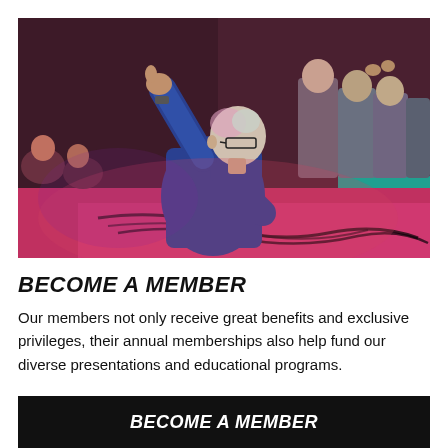[Figure (photo): A performer on stage in a blue shirt with arm raised giving thumbs up, facing an audience in a darkly lit venue with purple and red lighting. Cables visible on stage floor.]
BECOME A MEMBER
Our members not only receive great benefits and exclusive privileges, their annual memberships also help fund our diverse presentations and educational programs.
BECOME A MEMBER